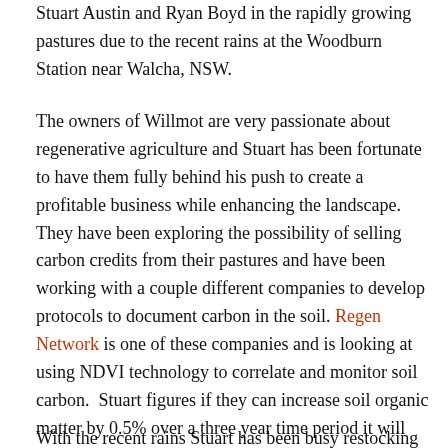Stuart Austin and Ryan Boyd in the rapidly growing pastures due to the recent rains at the Woodburn Station near Walcha, NSW.
The owners of Willmot are very passionate about regenerative agriculture and Stuart has been fortunate to have them fully behind his push to create a profitable business while enhancing the landscape. They have been exploring the possibility of selling carbon credits from their pastures and have been working with a couple different companies to develop protocols to document carbon in the soil. Regen Network is one of these companies and is looking at using NDVI technology to correlate and monitor soil carbon. Stuart figures if they can increase soil organic matter by 0.5% over a three year time period it will make the costs for the initial soil sampling and resampling to verify gains. I am always skeptical to sell carbon credits as I wouldn't want to be held liable if something out of my control were to occur that causes a carbon loss.
With the recent rains Stuart has been busy restocking their